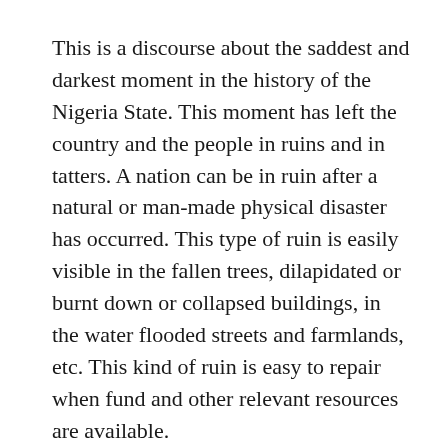This is a discourse about the saddest and darkest moment in the history of the Nigeria State. This moment has left the country and the people in ruins and in tatters. A nation can be in ruin after a natural or man-made physical disaster has occurred. This type of ruin is easily visible in the fallen trees, dilapidated or burnt down or collapsed buildings, in the water flooded streets and farmlands, etc. This kind of ruin is easy to repair when fund and other relevant resources are available.
However, in this treatise we shall be arguing that the type of ruin facing the Nigerian